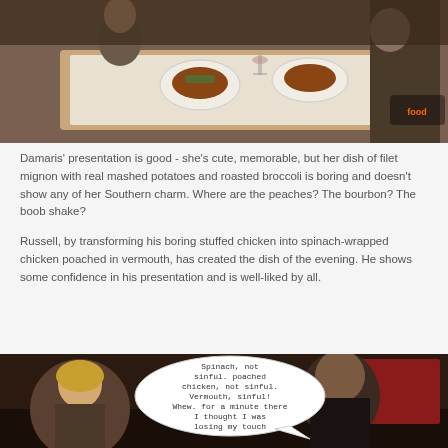[Figure (photo): People sitting at a restaurant table with food plates, wine glasses visible, appears to be a Food Network TV show set]
Damaris' presentation is good - she's cute, memorable, but her dish of filet mignon with real mashed potatoes and roasted broccoli is boring and doesn't show any of her Southern charm. Where are the peaches? The bourbon? The boob shake?
Russell, by transforming his boring stuffed chicken into spinach-wrapped chicken poached in vermouth, has created the dish of the evening. He shows some confidence in his presentation and is well-liked by all.
[Figure (screenshot): TV show screenshot with a man and a woman, speech bubble reads: Spinach, not sinful. poached chicken, not sinful. Vermouth, sinful! Whew. for a minute there I thought I was losing my touch]